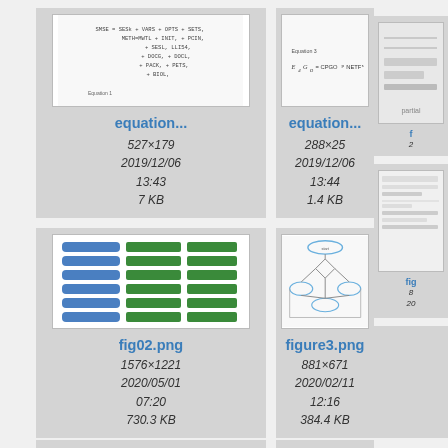[Figure (screenshot): Thumbnail of equation image showing formula text, filename equation...]
equation...
527×179
2019/12/06
13:43
7 KB
[Figure (screenshot): Thumbnail of equation image showing E4GO formula, filename equation...]
equation...
288×25
2019/12/06
13:44
1.4 KB
[Figure (screenshot): Thumbnail of fig02.png showing blue and green layered architecture diagram]
fig02.png
1576×1221
2020/05/01
07:20
730.3 KB
[Figure (screenshot): Thumbnail of figure3.png showing flowchart/network diagram with diamond shapes]
figure3.png
881×671
2020/02/11
12:16
384.4 KB